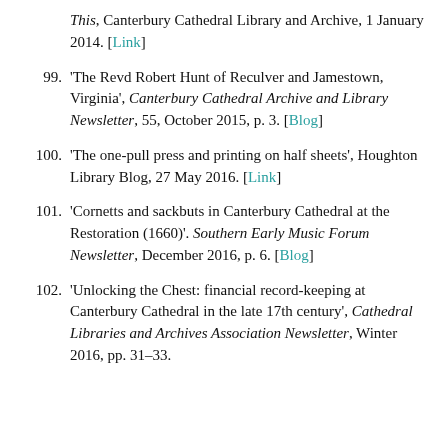This, Canterbury Cathedral Library and Archive, 1 January 2014. [Link]
99. 'The Revd Robert Hunt of Reculver and Jamestown, Virginia', Canterbury Cathedral Archive and Library Newsletter, 55, October 2015, p. 3. [Blog]
100. 'The one-pull press and printing on half sheets', Houghton Library Blog, 27 May 2016. [Link]
101. 'Cornetts and sackbuts in Canterbury Cathedral at the Restoration (1660)'. Southern Early Music Forum Newsletter, December 2016, p. 6. [Blog]
102. 'Unlocking the Chest: financial record-keeping at Canterbury Cathedral in the late 17th century', Cathedral Libraries and Archives Association Newsletter, Winter 2016, pp. 31–33.